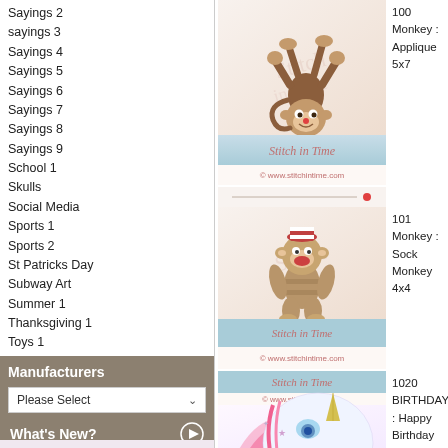Sayings 2
sayings 3
Sayings 4
Sayings 5
Sayings 6
Sayings 7
Sayings 8
Sayings 9
School 1
Skulls
Social Media
Sports 1
Sports 2
St Patricks Day
Subway Art
Summer 1
Thanksgiving 1
Toys 1
Transport 1
Transport 2
Valentine 1
Wedding 1
Yoga
SVGs
Manufacturers
Please Select
What's New?
[Figure (illustration): Acrobatic cartoon monkey doing a handstand, brown with big eyes, embroidery design]
100 Monkey : Applique 5x7
[Figure (illustration): Sock monkey stuffed animal design, brown with red mouth, embroidery design]
101 Monkey : Sock Monkey 4x4
[Figure (illustration): Cute cartoon unicorn head with pink mane and horn, birthday design]
1020 BIRTHDAY : Happy Birthday